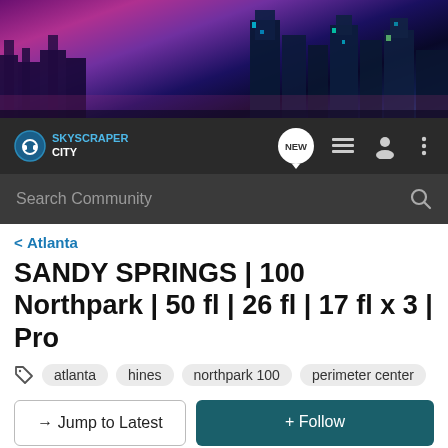[Figure (illustration): City skyline banner with neon-lit skyscrapers against a purple/pink gradient night sky]
[Figure (logo): SkyscraperCity logo with headphone icon and site name, navigation bar with NEW bubble, list icon, user icon, and vertical dots menu]
[Figure (screenshot): Search Community search bar on dark background]
< Atlanta
SANDY SPRINGS | 100 Northpark | 50 fl | 26 fl | 17 fl x 3 | Pro
atlanta   hines   northpark 100   perimeter center
→ Jump to Latest   + Follow
1 - 10 of 10 Posts